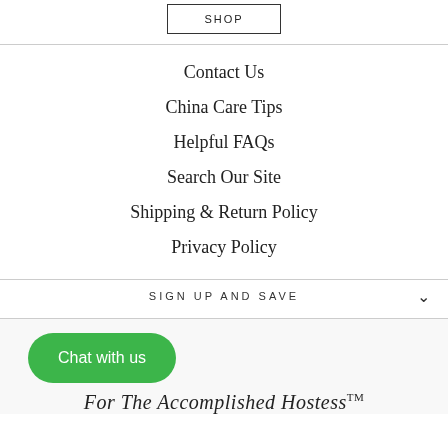SHOP
Contact Us
China Care Tips
Helpful FAQs
Search Our Site
Shipping & Return Policy
Privacy Policy
SIGN UP AND SAVE
Chat with us
For The Accomplished Hostess™